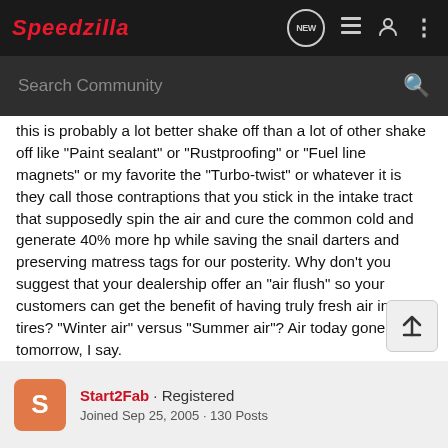Speedzilla
this is probably a lot better shake off than a lot of other shake off like "Paint sealant" or "Rustproofing" or "Fuel line magnets" or my favorite the "Turbo-twist" or whatever it is they call those contraptions that you stick in the intake tract that supposedly spin the air and cure the common cold and generate 40% more hp while saving the snail darters and preserving matress tags for our posterity. Why don't you suggest that your dealership offer an "air flush" so your customers can get the benefit of having truly fresh air in their tires? "Winter air" versus "Summer air"? Air today gone tomorrow, I say.
Start2Fab · Registered
Joined Sep 25, 2005 · 130 Posts